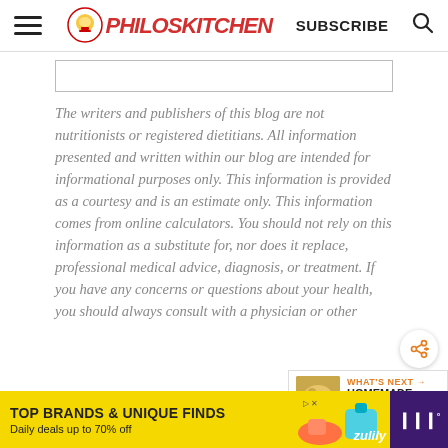Philos Kitchen - SUBSCRIBE
The writers and publishers of this blog are not nutritionists or registered dietitians. All information presented and written within our blog are intended for informational purposes only. This information is provided as a courtesy and is an estimate only. This information comes from online calculators. You should not rely on this information as a substitute for, nor does it replace, professional medical advice, diagnosis, or treatment. If you have any concerns or questions about your health, you should always consult with a physician or other
WHAT'S NEXT → HOMEMADE TORTELLINI...
TOP BRANDS & UNIQUE FINDS
Daily deals up to 70% off